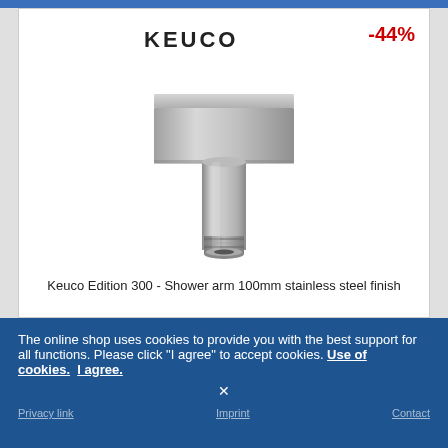[Figure (logo): KEUCO brand logo text in bold black letters]
-44%
[Figure (photo): Keuco Edition 300 shower arm 100mm stainless steel finish product photo - ceiling mounted square flange with cylindrical pipe]
Keuco Edition 300 - Shower arm 100mm stainless steel finish
The online shop uses cookies to provide you with the best support for all functions. Please click "I agree" to accept cookies. Use of cookies. I agree.